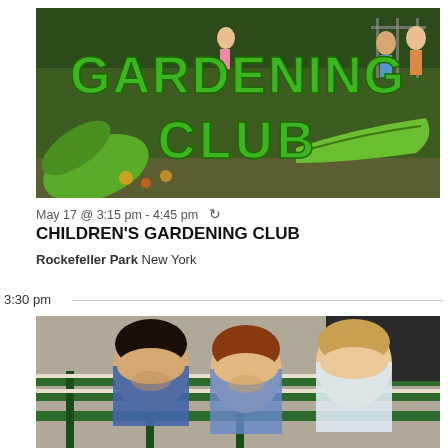[Figure (photo): Gardening Club sign with large green text reading GARDENING CLUB against a garden background with children visible]
May 17 @ 3:15 pm - 4:45 pm  ↺
CHILDREN'S GARDENING CLUB
Rockefeller Park  New York
3:30 pm
[Figure (photo): Three boys sitting on a green bench, looking down]